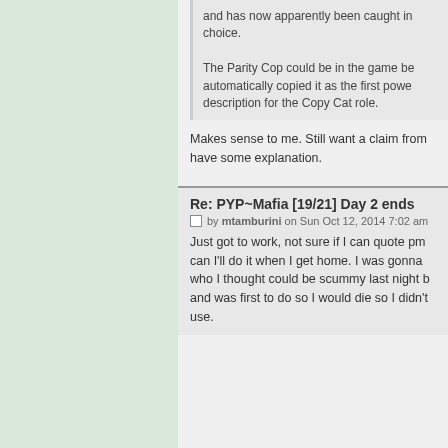and has now apparently been caught in choice.
The Parity Cop could be in the game be automatically copied it as the first powe description for the Copy Cat role.
Makes sense to me. Still want a claim from have some explanation.
Re: PYP~Mafia [19/21] Day 2 ends
by mtamburini on Sun Oct 12, 2014 7:02 am
Just got to work, not sure if I can quote pm can I'll do it when I get home. I was gonna who I thought could be scummy last night b and was first to do so I would die so I didn't use.